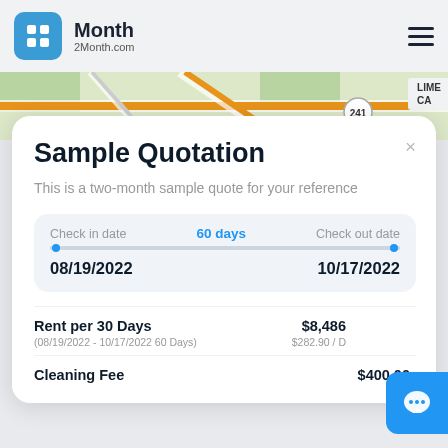2Month — 2Month.com
[Figure (map): Street map background strip showing road intersections with orange highway lines and green areas, with a partial label 'LIME CA' and route 241 marker on right side]
Sample Quotation
This is a two-month sample quote for your reference
| Check in date | 60 days | Check out date |
| --- | --- | --- |
| 08/19/2022 |  | 10/17/2022 |
| Item | Amount |
| --- | --- |
| Rent per 30 Days
(08/19/2022 - 10/17/2022 60 Days) | $8,486
$282.90 / D |
| Cleaning Fee | $400.00 |